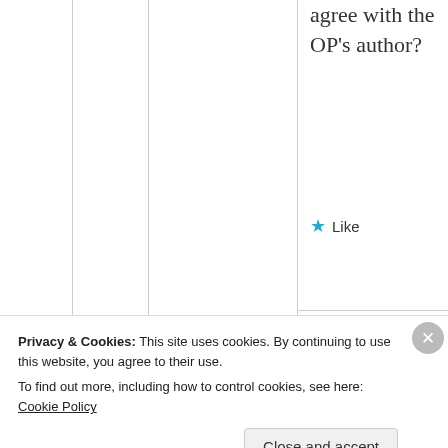agree with the OP's author?
★ Like
[Figure (illustration): Circular avatar with pink/magenta geometric diamond pattern on white background]
mosckerr
July
Privacy & Cookies: This site uses cookies. By continuing to use this website, you agree to their use. To find out more, including how to control cookies, see here: Cookie Policy
Close and accept